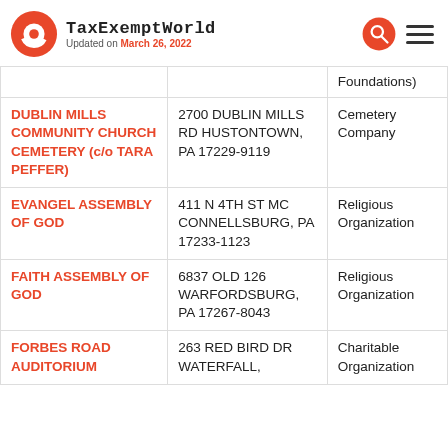TaxExemptWorld — Updated on March 26, 2022
| Organization | Address | Type |
| --- | --- | --- |
|  |  | Foundations) |
| DUBLIN MILLS COMMUNITY CHURCH CEMETERY (c/o TARA PEFFER) | 2700 DUBLIN MILLS RD HUSTONTOWN, PA 17229-9119 | Cemetery Company |
| EVANGEL ASSEMBLY OF GOD | 411 N 4TH ST MC CONNELLSBURG, PA 17233-1123 | Religious Organization |
| FAITH ASSEMBLY OF GOD | 6837 OLD 126 WARFORDSBURG, PA 17267-8043 | Religious Organization |
| FORBES ROAD AUDITORIUM | 263 RED BIRD DR WATERFALL, | Charitable Organization |